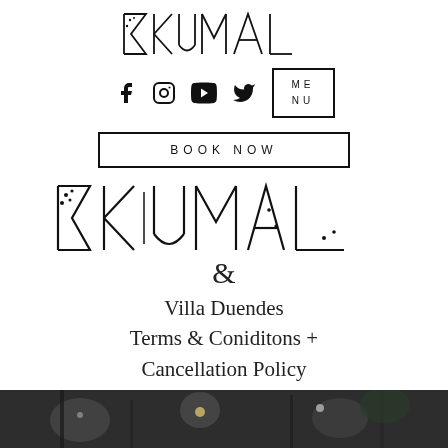[Figure (logo): Ekumal by Villa Duendes logo - stylized text with geometric sigma/E character]
[Figure (infographic): Social media icons (Facebook, Instagram, YouTube, Twitter) and a MENU button]
BOOK NOW
[Figure (logo): Large Ekumal logo - stylized text]
&
Villa Duendes
Terms & Coniditons +
Cancellation Policy
[Figure (photo): Bottom photo showing an outdoor nighttime scene with lights and wooden structures]